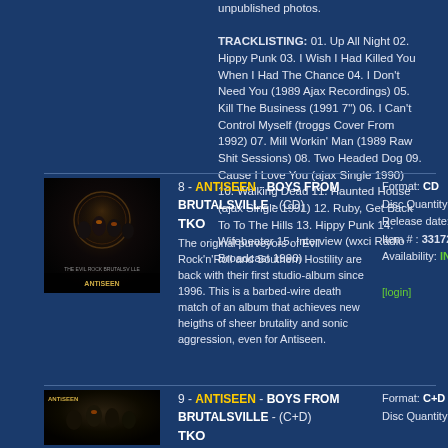unpublished photos.
TRACKLISTING: 01. Up All Night 02. Hippy Punk 03. I Wish I Had Killed You When I Had The Chance 04. I Don't Need You (1989 Ajax Recordings) 05. Kill The Business (1991 7") 06. I Can't Control Myself (troggs Cover From 1992) 07. Mill Workin' Man (1989 Raw Shit Sessions) 08. Two Headed Dog 09. Cause I Love You (ajax Single 1990) 10. Walking Dead 11. Haunted House (ajax Single 1991) 12. Ruby, Get Back To To The Hills 13. Hippy Punk 14. Wifebeater 15. Interview (wxci Radio Broadcast 1990)
8 - ANTISEEN - BOYS FROM BRUTALSVILLE - (CD) TKO
The original purveyors of Evil Rock'n'Roll and Southern Hostility are back with their first studio-album since 1996. This is a barbed-wire death match of an album that achieves new heigths of sheer brutality and sonic aggression, even for Antiseen.
Format: CD
Disc Quantity: 1
Release date: 08-08-2001
Item # : 331723
Availability: IN STOCK
[login]
9 - ANTISEEN - BOYS FROM BRUTALSVILLE - (C+D) TKO
Format: C+D
Disc Quantity: 2